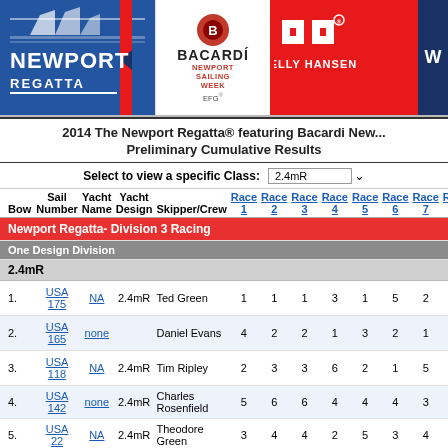[Figure (logo): Header banner with Newport Regatta logo, Bacardi Newport Sailing Week logo, Helly Hansen logo, and a dark blue right panel]
2014 The Newport Regatta® featuring Bacardi Newport Sailing Week Preliminary Cumulative Results
Select to view a specific Class: 2.4mR
| Bow | Sail Number | Yacht Name | Yacht Design | Skipper/Crew | Race 1 | Race 2 | Race 3 | Race 4 | Race 5 | Race 6 | Race 7 | Race 8 | Race 9 |
| --- | --- | --- | --- | --- | --- | --- | --- | --- | --- | --- | --- | --- | --- |
| Newport Regatta- Division 3 Racing |
| One Design Division |
| 2.4mR |
| 1. | USA 175 | NA | 2.4mR | Ted Green | 1 | 1 | 1 | 3 | 1 | 5 | 2 | 1 | 2 |
| 2. | USA 165 | none |  | Daniel Evans | 4 | 2 | 2 | 1 | 3 | 2 | 1 | 5 | 4 |
| 3. | USA 118 | NA | 2.4mR | Tim Ripley | 2 | 3 | 3 | 6 | 2 | 1 | 5 | 4 | 3 |
| 4. | USA 142 | none | 2.4mR | Charles Rosenfield | 5 | 6 | 6 | 4 | 4 | 4 | 3 | 3 | 1 |
| 5. | USA 22 | NA | 2.4mR | Theodore Green | 3 | 4 | 4 | 2 | 5 | 3 | 4 | 2 | 5 |
| 6. | Little |  |  | Antonio E. |  |  |  |  |  |  |  |  |  |